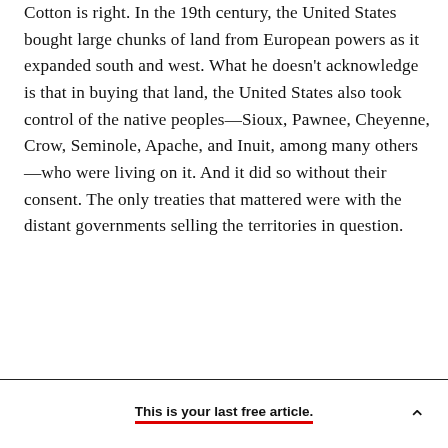Cotton is right. In the 19th century, the United States bought large chunks of land from European powers as it expanded south and west. What he doesn't acknowledge is that in buying that land, the United States also took control of the native peoples—Sioux, Pawnee, Cheyenne, Crow, Seminole, Apache, and Inuit, among many others—who were living on it. And it did so without their consent. The only treaties that mattered were with the distant governments selling the territories in question.
This is your last free article.